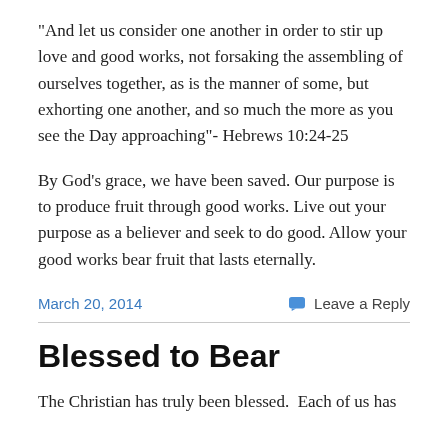“And let us consider one another in order to stir up love and good works, not forsaking the assembling of ourselves together, as is the manner of some, but exhorting one another, and so much the more as you see the Day approaching”- Hebrews 10:24-25
By God’s grace, we have been saved. Our purpose is to produce fruit through good works. Live out your purpose as a believer and seek to do good. Allow your good works bear fruit that lasts eternally.
March 20, 2014
Leave a Reply
Blessed to Bear
The Christian has truly been blessed.  Each of us has